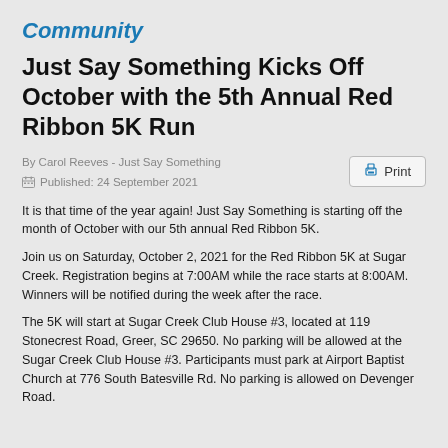Community
Just Say Something Kicks Off October with the 5th Annual Red Ribbon 5K Run
By Carol Reeves - Just Say Something
Published: 24 September 2021
It is that time of the year again! Just Say Something is starting off the month of October with our 5th annual Red Ribbon 5K.
Join us on Saturday, October 2, 2021 for the Red Ribbon 5K at Sugar Creek. Registration begins at 7:00AM while the race starts at 8:00AM. Winners will be notified during the week after the race.
The 5K will start at Sugar Creek Club House #3, located at 119 Stonecrest Road, Greer, SC 29650. No parking will be allowed at the Sugar Creek Club House #3. Participants must park at Airport Baptist Church at 776 South Batesville Rd. No parking is allowed on Devenger Road.